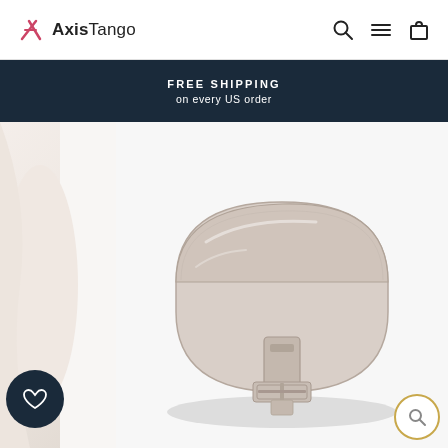[Figure (logo): AxisTango brand logo with stylized 'AX' icon and text 'Axis Tango']
FREE SHIPPING on every US order
[Figure (photo): Product photo of a half-moon shaped blush/nude pink leather crossbody bag with a buckle strap closure, shown on a white background. Partial view of a person wearing white clothing visible on the left side.]